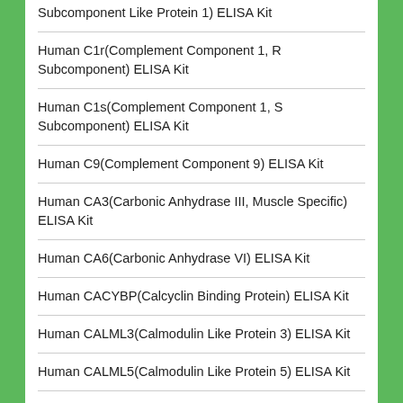Subcomponent Like Protein 1) ELISA Kit
Human C1r(Complement Component 1, R Subcomponent) ELISA Kit
Human C1s(Complement Component 1, S Subcomponent) ELISA Kit
Human C9(Complement Component 9) ELISA Kit
Human CA3(Carbonic Anhydrase III, Muscle Specific) ELISA Kit
Human CA6(Carbonic Anhydrase VI) ELISA Kit
Human CACYBP(Calcyclin Binding Protein) ELISA Kit
Human CALML3(Calmodulin Like Protein 3) ELISA Kit
Human CALML5(Calmodulin Like Protein 5) ELISA Kit